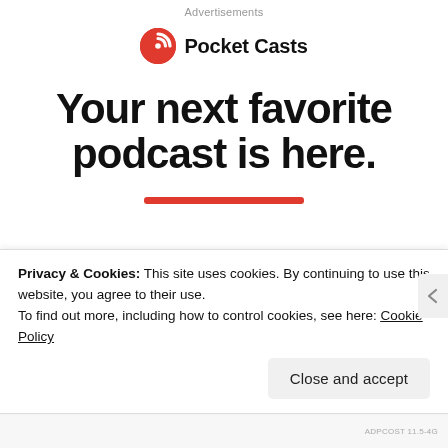Advertisements
[Figure (logo): Pocket Casts logo: red circle with stylized 'C' wave icon and bold text 'Pocket Casts']
Your next favorite podcast is here.
Privacy & Cookies: This site uses cookies. By continuing to use this website, you agree to their use.
To find out more, including how to control cookies, see here: Cookie Policy
Close and accept
ADPCOST 11.5-4G